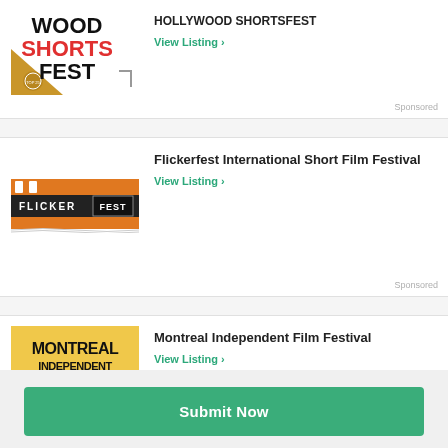[Figure (logo): Hollywood Shorts Fest logo — bold black text 'WOOD SHORTS FEST' with red 'SHORTS', gold triangle bottom left]
HOLLYWOOD SHORTSFEST
View Listing >
Sponsored
[Figure (logo): Flickerfest logo — film strip style banner with 'FLICKERFEST' text]
Flickerfest International Short Film Festival
View Listing >
Sponsored
[Figure (logo): Montreal Independent Film Festival logo — yellow background with bold black text and film reel icon]
Montreal Independent Film Festival
View Listing >
Submit Now